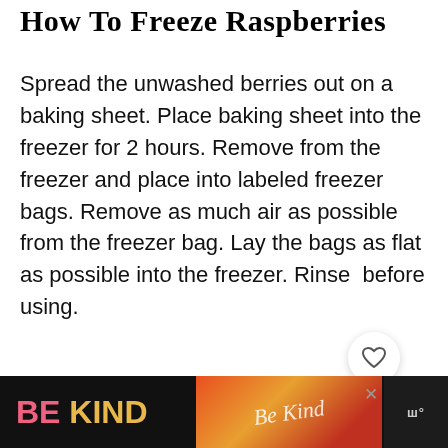How To Freeze Raspberries
Spread the unwashed berries out on a baking sheet. Place baking sheet into the freezer for 2 hours. Remove from the freezer and place into labeled freezer bags. Remove as much air as possible from the freezer bag. Lay the bags as flat as possible into the freezer. Rinse  before using.
[Figure (photo): Image placeholder area (light gray), with a count label '316' in red, a heart/favorite button (white circle with heart icon), and a red search button (red circle with magnifying glass icon)]
[Figure (screenshot): Advertisement bar at bottom: black background with 'BE KIND' text (BE in pink, KIND in gold/yellow), decorative script logo in orange/red, close X button, and a TV/media logo on the far right]